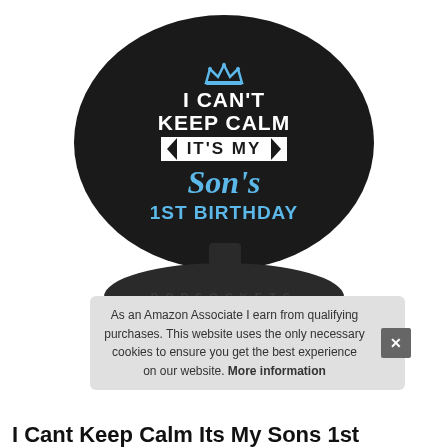[Figure (photo): A PopSocket product with a black disc top printed with 'I Can't Keep Calm It's My Son's 1st Birthday' in white and blue text with a crown graphic, mounted on a circular black base with POPSOCKETS text around the rim.]
As an Amazon Associate I earn from qualifying purchases. This website uses the only necessary cookies to ensure you get the best experience on our website. More information
I Cant Keep Calm Its My Sons 1st